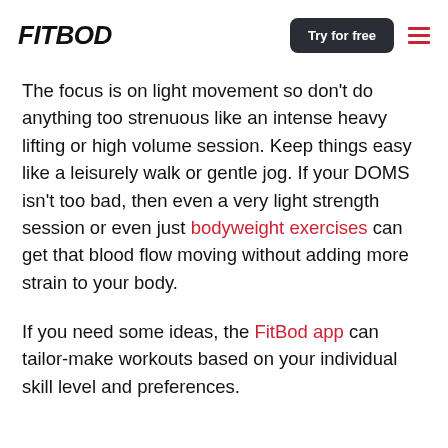FITBOD | Try for free
The focus is on light movement so don't do anything too strenuous like an intense heavy lifting or high volume session. Keep things easy like a leisurely walk or gentle jog. If your DOMS isn't too bad, then even a very light strength session or even just bodyweight exercises can get that blood flow moving without adding more strain to your body.
If you need some ideas, the FitBod app can tailor-make workouts based on your individual skill level and preferences.